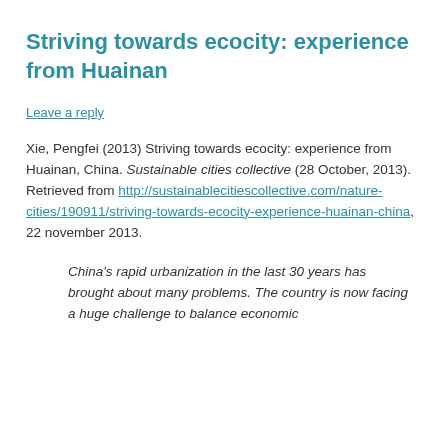Striving towards ecocity: experience from Huainan
Leave a reply
Xie, Pengfei (2013) Striving towards ecocity: experience from Huainan, China. Sustainable cities collective (28 October, 2013). Retrieved from http://sustainablecitiescollective.com/nature-cities/190911/striving-towards-ecocity-experience-huainan-china, 22 november 2013.
China’s rapid urbanization in the last 30 years has brought about many problems. The country is now facing a huge challenge to balance economic